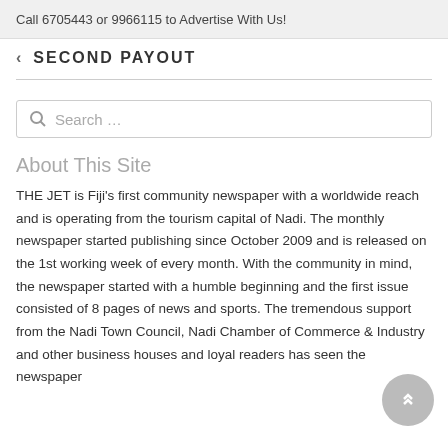Call 6705443 or 9966115 to Advertise With Us!
SECOND PAYOUT
Search …
About This Site
THE JET is Fiji's first community newspaper with a worldwide reach and is operating from the tourism capital of Nadi. The monthly newspaper started publishing since October 2009 and is released on the 1st working week of every month. With the community in mind, the newspaper started with a humble beginning and the first issue consisted of 8 pages of news and sports. The tremendous support from the Nadi Town Council, Nadi Chamber of Commerce & Industry and other business houses and loyal readers has seen the newspaper